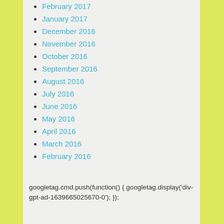February 2017
January 2017
December 2016
November 2016
October 2016
September 2016
August 2016
July 2016
June 2016
May 2016
April 2016
March 2016
February 2016
googletag.cmd.push(function() { googletag.display('div-gpt-ad-1639665025670-0'); });